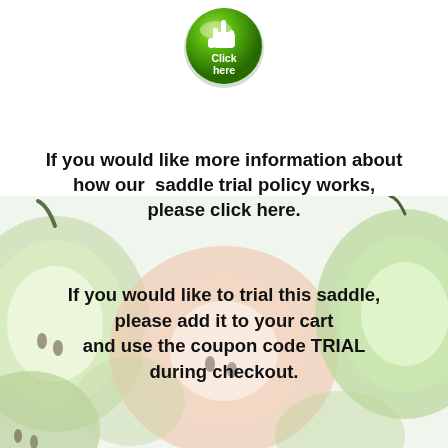[Figure (illustration): Green glossy circular button with a pointing hand cursor icon and white text 'Click here']
If you would like more information about how our saddle trial policy works, please click here.
[Figure (illustration): Decorative banner background with illustrated green and pink apple cross-sections arranged across the image]
If you would like to trial this saddle, please add it to your cart and use the coupon code TRIAL during checkout.